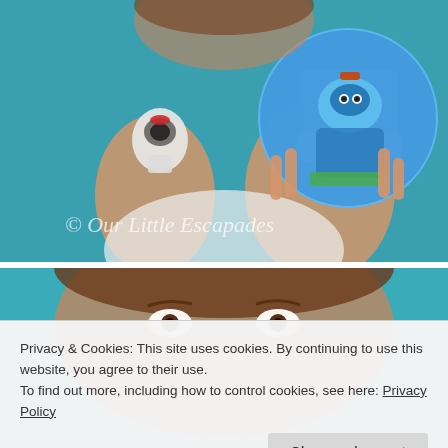[Figure (photo): A child holding a small toy robot figure in one hand and a circular card/image featuring a blue animated robot character (from Super Wings or similar) in the other. Background is teal/blue. Watermark text reads '© Our Little Escapades'.]
[Figure (photo): Close-up of a child's face, eyes visible, against teal background. Partially visible at bottom.]
Privacy & Cookies: This site uses cookies. By continuing to use this website, you agree to their use.
To find out more, including how to control cookies, see here: Privacy Policy
Close and accept